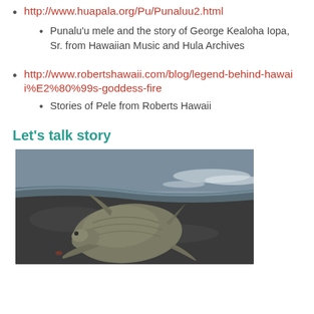http://www.huapala.org/Pu/Punaluu2.html
Punalu'u mele and the story of George Kealoha Iopa, Sr. from Hawaiian Music and Hula Archives
http://www.robertshawaii.com/blog/legend-behind-hawaii%E2%80%99s-goddess-fire
Stories of Pele from Roberts Hawaii
Let's talk story
[Figure (photo): A sea turtle resting on a black sand beach near the ocean shoreline.]